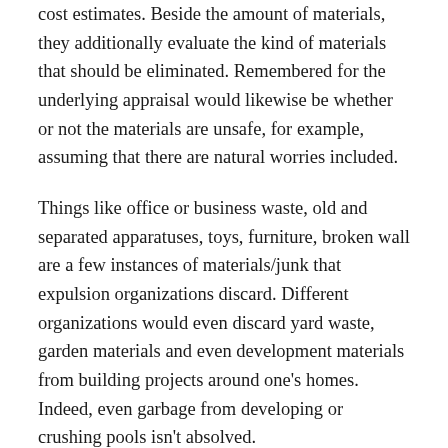cost estimates. Beside the amount of materials, they additionally evaluate the kind of materials that should be eliminated. Remembered for the underlying appraisal would likewise be whether or not the materials are unsafe, for example, assuming that there are natural worries included.
Things like office or business waste, old and separated apparatuses, toys, furniture, broken wall are a few instances of materials/junk that expulsion organizations discard. Different organizations would even discard yard waste, garden materials and even development materials from building projects around one's homes. Indeed, even garbage from developing or crushing pools isn't absolved.
For a bigger scope, when a structure is annihilated, mind boggling measures of trash result. There are evacuation organizations that have practical experience in pulling these sorts of waste. They tow away all the rubble to determined